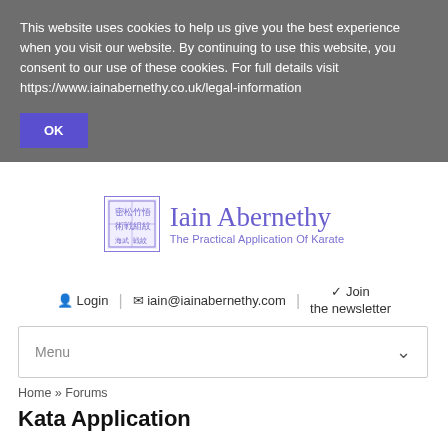This website uses cookies to help us give you the best experience when you visit our website. By continuing to use this website, you consent to our use of these cookies. For full details visit https://www.iainabernethy.co.uk/legal-information
OK
[Figure (logo): Iain Abernethy logo with Japanese kanji seal and text 'Iain Abernethy – The Practical Application Of Karate']
Login | iain@iainabernethy.com | Join the newsletter
Menu
Home » Forums
Kata Application